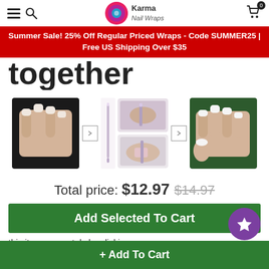Karma Nail Wraps - Navigation Header
Summer Sale! 25% Off Regular Priced Wraps - Code SUMMER25 | Free US Shipping Over $35
together
[Figure (photo): Product image carousel showing: left - hand with nude/cream nails, center top - nail detailing tool, center - two close-up shots of nail tool in use, right - hand with French manicure nails. Navigation arrows between images.]
Total price: $12.97 $14.97
Add Selected To Cart
+ Add To Cart